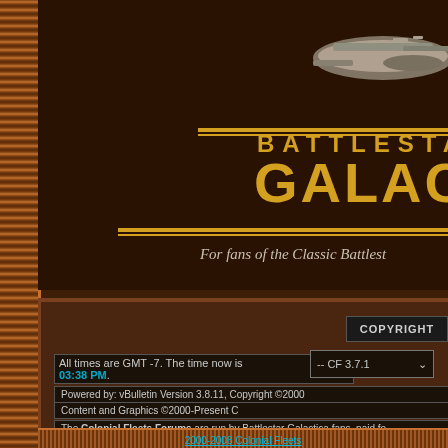[Figure (screenshot): Battlestar Galactica fan forum website header with spaceship image, large gold BSG logo text, and footer with copyright/version information]
BATTLESTAR GALACTICA
For fans of the Classic Battlestar Galactica
COPYRIGHT
All times are GMT -7. The time now is 03:38 PM.
-- CF 3.7.1
Powered by: vBulletin Version 3.8.11, Copyright ©2000
Content and Graphics ©2000-Present C
The Colonial Fleets Forums are run by Battlestar Galactica fans, paid for of fellow Battlestar Galactica f
2000-2008 Colonial Fleets